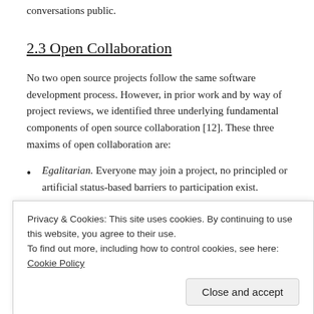conversations public.
2.3 Open Collaboration
No two open source projects follow the same software development process. However, in prior work and by way of project reviews, we identified three underlying fundamental components of open source collaboration [12]. These three maxims of open collaboration are:
Egalitarian. Everyone may join a project, no principled or artificial status-based barriers to participation exist.
Privacy & Cookies: This site uses cookies. By continuing to use this website, you agree to their use.
To find out more, including how to control cookies, see here: Cookie Policy
Close and accept